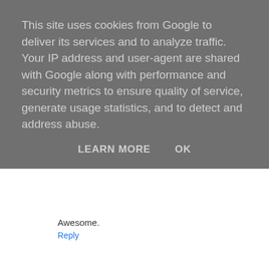This site uses cookies from Google to deliver its services and to analyze traffic. Your IP address and user-agent are shared with Google along with performance and security metrics to ensure quality of service, generate usage statistics, and to detect and address abuse.
LEARN MORE   OK
Awesome.
Reply
Ana  1 February 2013 at 06:00
Want, want, WANT!
Reply
Jamie @ Polish, Please!  1 February 2013 at 07:37
I am in LOVE with these colors!! They're fantastic!!
Reply